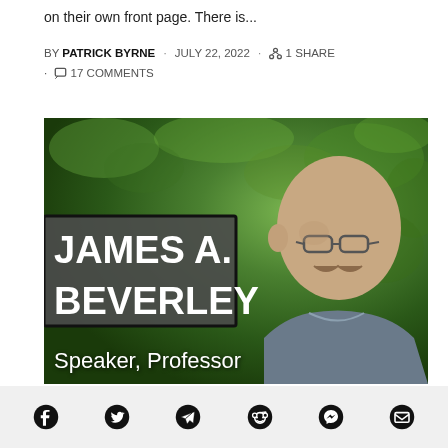on their own front page. There is...
BY PATRICK BYRNE · JULY 22, 2022 · 1 SHARE · 17 COMMENTS
[Figure (photo): Photo of James A. Beverley, Speaker and Professor, with name overlay box and green foliage background]
Social share icons: Facebook, Twitter, Telegram, Reddit, Messenger, Email